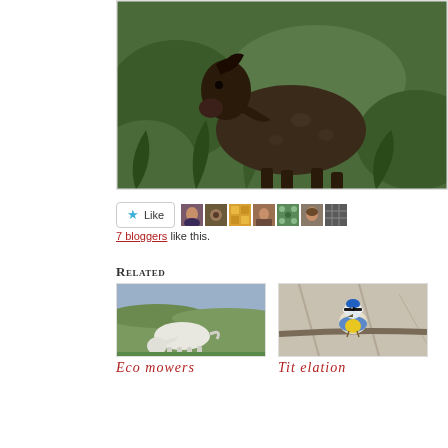[Figure (photo): A dark brown/black pony or small horse standing among green ferns and foliage]
[Figure (other): Like button with star icon and 7 small avatar thumbnails of bloggers]
7 bloggers like this.
Related
[Figure (photo): A white/grey pony grazing on moorland]
Eco mowers
[Figure (photo): A blue tit bird perched on a branch]
Tit elation